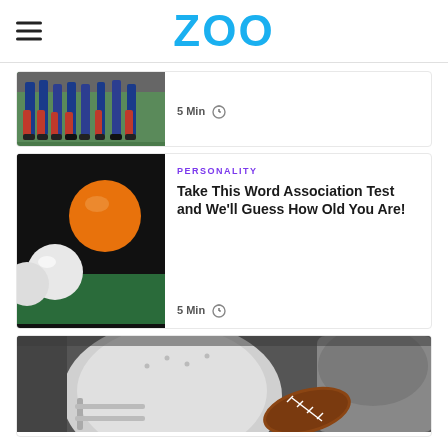ZOO
[Figure (photo): Partial card at top showing soccer players' legs on a field, with '5 Min' timer label]
[Figure (photo): Ping pong balls on a green table with a dark background — one orange ball and two white balls]
PERSONALITY
Take This Word Association Test and We'll Guess How Old You Are!
5 Min
[Figure (photo): Close-up of American football helmet, shoulder pads, and a football on a dark surface]